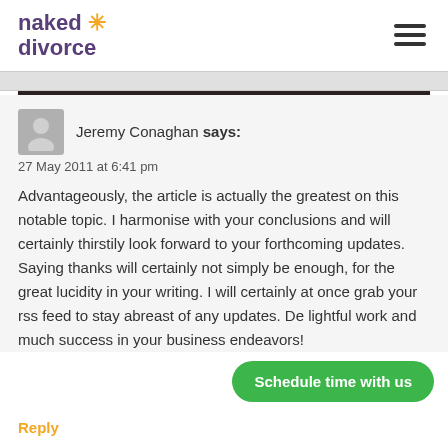naked divorce
Jeremy Conaghan says:
27 May 2011 at 6:41 pm
Advantageously, the article is actually the greatest on this notable topic. I harmonise with your conclusions and will certainly thirstily look forward to your forthcoming updates. Saying thanks will certainly not simply be enough, for the great lucidity in your writing. I will certainly at once grab your rss feed to stay abreast of any updates. De lightful work and much success in your business endeavors!
Schedule time with us
Reply